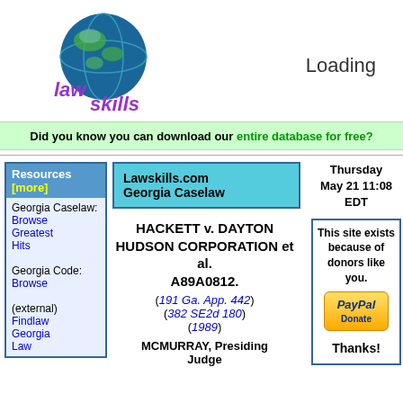[Figure (logo): LawSkills.com logo with globe and stylized text 'law skills']
Loading
Did you know you can download our entire database for free?
Resources [more]
Georgia Caselaw: Browse Greatest Hits
Georgia Code: Browse
(external) Findlaw Georgia Law
Lawskills.com Georgia Caselaw
HACKETT v. DAYTON HUDSON CORPORATION et al. A89A0812.
(191 Ga. App. 442) (382 SE2d 180) (1989)
MCMURRAY, Presiding Judge
Thursday May 21 11:08 EDT
This site exists because of donors like you. Thanks!